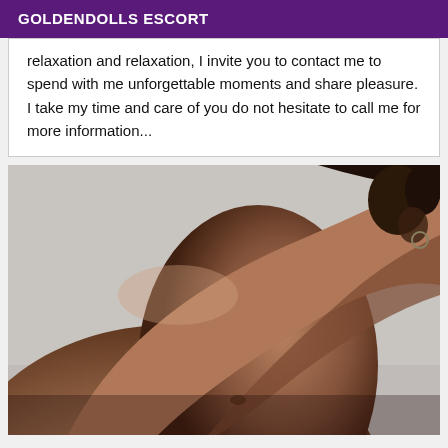GOLDENDOLLS ESCORT
relaxation and relaxation, I invite you to contact me to spend with me unforgettable moments and share pleasure. I take my time and care of you do not hesitate to call me for more information...
[Figure (photo): Close-up photograph of a person's bare shoulder and back with hair visible]